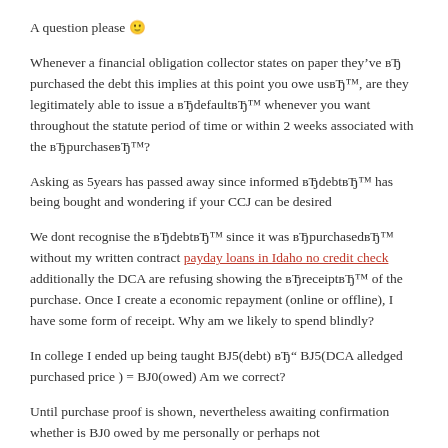A question please 🙂
Whenever a financial obligation collector states on paper they've вЂ​purchased the debt this implies at this point you owe usвЂ​™, are they legitimately able to issue a вЂ​defaultвЂ™ whenever you want throughout the statute period of time or within 2 weeks associated with the вЂ​purchaseвЂ™?
Asking as 5years has passed away since informed вЂ​debtвЂ™ has being bought and wondering if your CCJ can be desired
We dont recognise the вЂ​debtвЂ™ since it was вЂ​purchasedвЂ™ without my written contract payday loans in Idaho no credit check additionally the DCA are refusing showing the вЂ​ReceiptвЂ™ of the purchase. Once I create a economic repayment (online or offline), I have some form of receipt. Why am we likely to spend blindly?
In college I ended up being taught BJ5(debt) вЂ" BJ5(DCA alledged purchased price ) = BJ0(owed) Am we correct?
Until purchase proof is shown, nevertheless awaiting confirmation whether is BJ0 owed by me personally or perhaps not